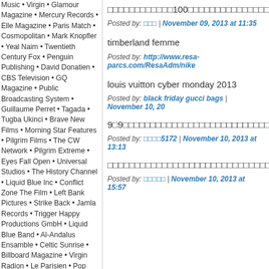Music • Virgin • Glamour Magazine • Mercury Records • Elle Magazine • Paris Match • Cosmopolitan • Mark Knopfler • Yeal Naim • Twentieth Century Fox • Penguin Publishing • David Donatien • CBS Television • GQ Magazine • Public Broadcasting System • Guillaume Perret • Tagada • Tugba Ukinci • Brave New Films • Morning Star Features • Pilgrim Films • The CW Network • Pilgrim Extreme • Eyes Fall Open • Universal Studios • The History Channel • Liquid Blue Inc • Conflict Zone The Film • Left Bank Pictures • Strike Back • Jamla Records • Trigger Happy Productions GmbH • Liquid Blue Band • Al-Andalus Ensamble • Celtic Sunrise • Billboard Magazine • Virgin Radion • Le Parisien • Pop Matters • Caesars Atlantic City • Direct Soir • Sensible Events • Royal Albert Hall • Mass Live • Mc2 Grenoble • What It Is • RumBum • Irish Times • Net Planet, MLK • 06
□□□□□□□□□□□□100□□□□□□□□□□□□□□□□□□□□□□□□□□□□□□□□□□□□
Posted by: □□□ | November 09, 2013 at 11:35
timberland femme
Posted by: http://www.resa-parcs.com/ResaAdm/nike
louis vuitton cyber monday 2013
Posted by: black friday gucci bags | November 10, 20
9□9□□□□□□□□□□□□□□□□□□□□□□□□□□□□□□□□□□□□□□□□□□□□□□□□
Posted by: □□□□5172 | November 10, 2013 at 13:13
□□□□□□□□□□□□□□□□□□□□□□□□□□□□□□□□
Posted by: □□□□□ | November 10, 2013 at 15:57